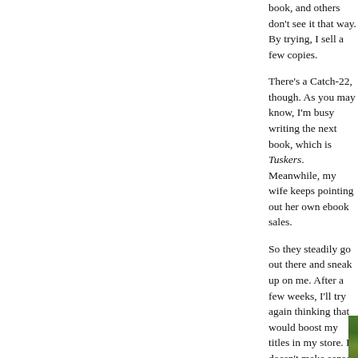book, and others don't see it that way. By trying, I sell a few copies.
There's a Catch-22, though. As you may know, I'm busy writing the next book, which is Tuskers. Meanwhile, my wife keeps pointing out her own ebook sales.
So they steadily go out there and sneak up on me. After a few weeks, I'll try again thinking that would boost my titles in my store. It doesn't make sense. (Most often with my signa
I suppose eventually, it will attract many out-of-town customers, which is almost enough for me to dr
[Figure (photo): A partially visible outdoor photograph showing green vegetation, positioned at the bottom right corner of the page.]